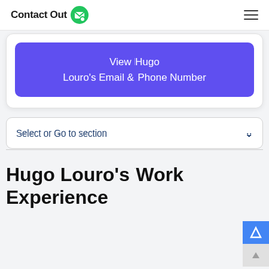ContactOut
View Hugo Louro's Email & Phone Number
Select or Go to section
Hugo Louro's Work Experience